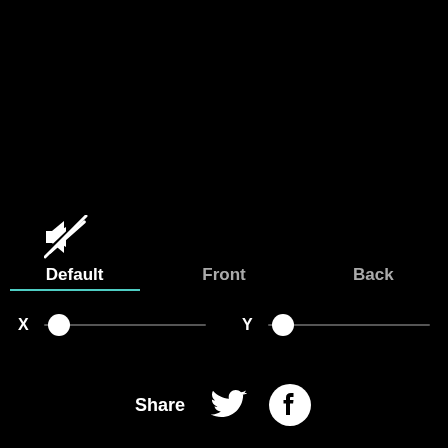[Figure (screenshot): Muted/disabled speaker icon in white on black background]
Default
Front
Back
[Figure (infographic): X slider control with white circular thumb at leftmost position on a grey track]
[Figure (infographic): Y slider control with white circular thumb at leftmost position on a grey track]
Share
[Figure (logo): Twitter bird icon in white]
[Figure (logo): Facebook 'f' icon in white on circular background]